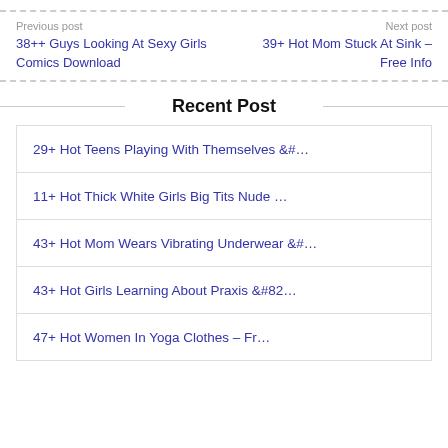Previous post | Next post
38++ Guys Looking At Sexy Girls Comics Download
39+ Hot Mom Stuck At Sink – Free Info
Recent Post
29+ Hot Teens Playing With Themselves &#…
11+ Hot Thick White Girls Big Tits Nude …
43+ Hot Mom Wears Vibrating Underwear &#…
43+ Hot Girls Learning About Praxis &#82…
47+ Hot Women In Yoga Clothes – Fr…